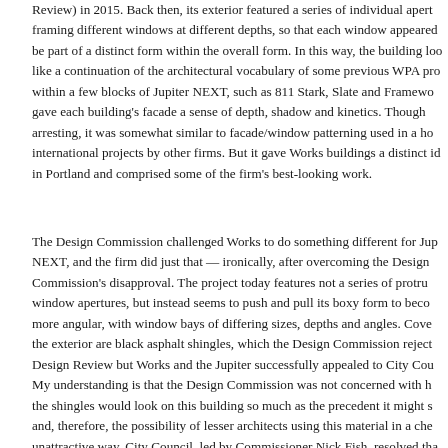Review) in 2015. Back then, its exterior featured a series of individual apert framing different windows at different depths, so that each window appeared be part of a distinct form within the overall form. In this way, the building loo like a continuation of the architectural vocabulary of some previous WPA pro within a few blocks of Jupiter NEXT, such as 811 Stark, Slate and Framewo gave each building's facade a sense of depth, shadow and kinetics. Though arresting, it was somewhat similar to facade/window patterning used in a ho international projects by other firms. But it gave Works buildings a distinct id in Portland and comprised some of the firm's best-looking work.
The Design Commission challenged Works to do something different for Jup NEXT, and the firm did just that — ironically, after overcoming the Design Commission's disapproval. The project today features not a series of protru window apertures, but instead seems to push and pull its boxy form to beco more angular, with window bays of differing sizes, depths and angles. Cove the exterior are black asphalt shingles, which the Design Commission reject Design Review but Works and the Jupiter successfully appealed to City Cou My understanding is that the Design Commission was not concerned with h the shingles would look on this building so much as the precedent it might s and, therefore, the possibility of lesser architects using this material in a che unattractive way. City Council, led by Commissioner Nick Fish, resolved tha project's ingenuity should not be punished for what others might do with the material. And quite rightly. The Design Commission has a tough job, and I th